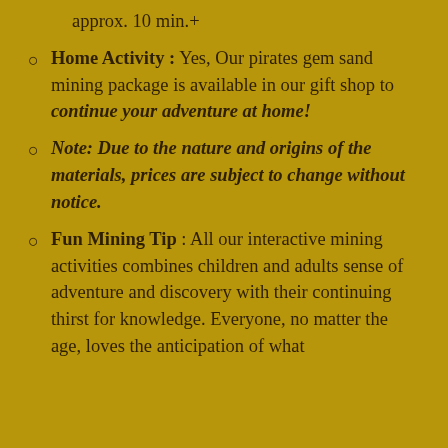approx. 10 min.+
Home Activity : Yes, Our pirates gem sand mining package is available in our gift shop to continue your adventure at home!
Note: Due to the nature and origins of the materials, prices are subject to change without notice.
Fun Mining Tip : All our interactive mining activities combines children and adults sense of adventure and discovery with their continuing thirst for knowledge. Everyone, no matter the age, loves the anticipation of what